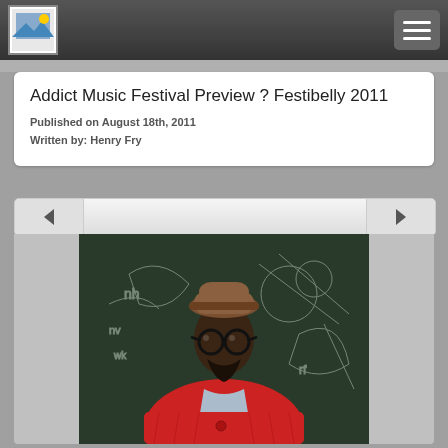Addict Music Festival Preview ? Festibelly 2011 — navigation bar with logo and menu button
Addict Music Festival Preview ? Festibelly 2011
Published on August 18th, 2011
Written by: Henry Fry
[Figure (photo): Portrait photograph of a young black man wearing a brown knit hat, large round black-framed glasses, and a red chunky-knit cardigan, standing in front of a dark chalkboard covered with white chalk drawings]